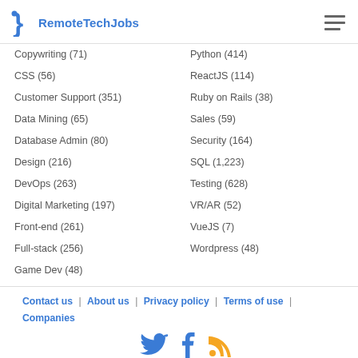RemoteTechJobs
Copywriting (71)
Python (414)
CSS (56)
ReactJS (114)
Customer Support (351)
Ruby on Rails (38)
Data Mining (65)
Sales (59)
Database Admin (80)
Security (164)
Design (216)
SQL (1,223)
DevOps (263)
Testing (628)
Digital Marketing (197)
VR/AR (52)
Front-end (261)
VueJS (7)
Full-stack (256)
Wordpress (48)
Game Dev (48)
Contact us | About us | Privacy policy | Terms of use | Companies